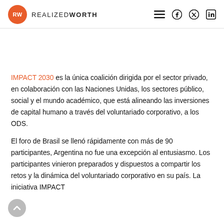RW REALIZEDWORTH
IMPACT 2030 es la única coalición dirigida por el sector privado, en colaboración con las Naciones Unidas, los sectores público, social y el mundo académico, que está alineando las inversiones de capital humano a través del voluntariado corporativo, a los ODS.
El foro de Brasil se llenó rápidamente con más de 90 participantes, Argentina no fue una excepción al entusiasmo. Los participantes vinieron preparados y dispuestos a compartir los retos y la dinámica del voluntariado corporativo en su país. La iniciativa IMPACT